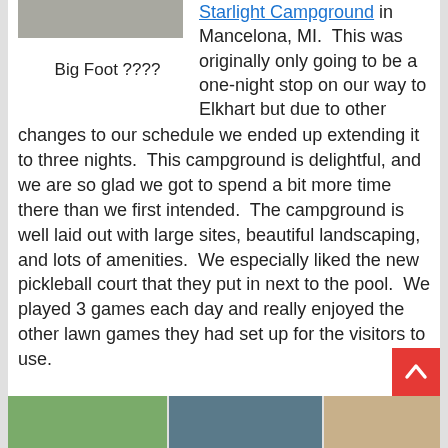[Figure (photo): Partially visible photo at top left, appears to show ground or outdoor surface]
Big Foot ????
Starlight Campground in Mancelona, MI.  This was originally only going to be a one-night stop on our way to Elkhart but due to other changes to our schedule we ended up extending it to three nights.  This campground is delightful, and we are so glad we got to spend a bit more time there than we first intended.  The campground is well laid out with large sites, beautiful landscaping, and lots of amenities.  We especially liked the new pickleball court that they put in next to the pool.  We played 3 games each day and really enjoyed the other lawn games they had set up for the visitors to use.
[Figure (photo): Bottom left photo showing campground with green trees]
[Figure (photo): Bottom center photo showing campground equipment or vehicles]
[Figure (photo): Bottom right photo partially visible, appears to show a person or animal]